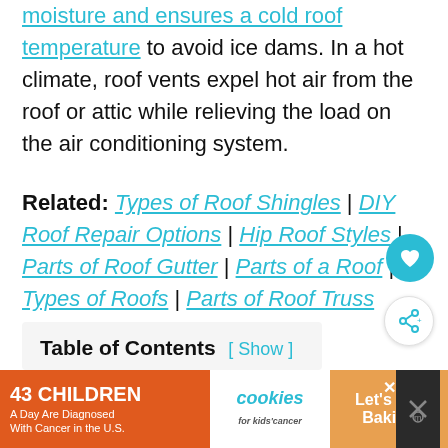moisture and ensures a cold roof temperature to avoid ice dams. In a hot climate, roof vents expel hot air from the roof or attic while relieving the load on the air conditioning system.
Related: Types of Roof Shingles | DIY Roof Repair Options | Hip Roof Styles | Parts of Roof Gutter | Parts of a Roof | Types of Roofs | Parts of Roof Truss
Table of Contents [ Show ]
[Figure (infographic): Advertisement banner for '43 Children A Day Are Diagnosed With Cancer in the U.S.' with cookies for kids' cancer charity and 'Let's Get Baking' call to action]